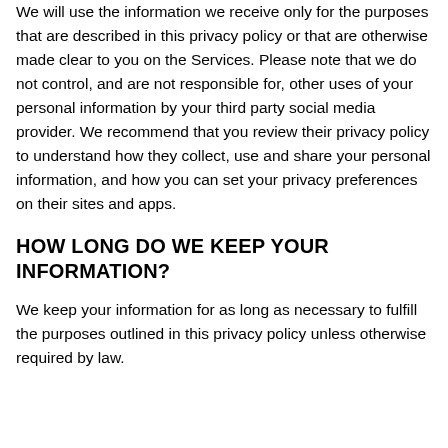We will use the information we receive only for the purposes that are described in this privacy policy or that are otherwise made clear to you on the Services. Please note that we do not control, and are not responsible for, other uses of your personal information by your third party social media provider. We recommend that you review their privacy policy to understand how they collect, use and share your personal information, and how you can set your privacy preferences on their sites and apps.
HOW LONG DO WE KEEP YOUR INFORMATION?
We keep your information for as long as necessary to fulfill the purposes outlined in this privacy policy unless otherwise required by law.